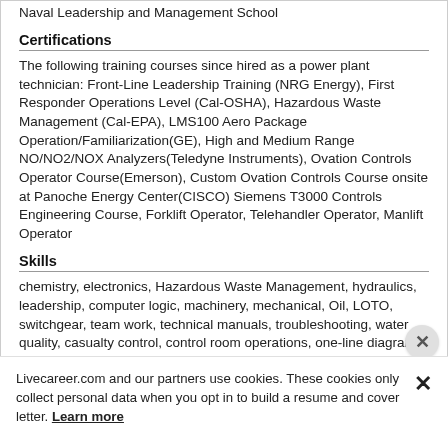Naval Leadership and Management School
Certifications
The following training courses since hired as a power plant technician: Front-Line Leadership Training (NRG Energy), First Responder Operations Level (Cal-OSHA), Hazardous Waste Management (Cal-EPA), LMS100 Aero Package Operation/Familiarization(GE), High and Medium Range NO/NO2/NOX Analyzers(Teledyne Instruments), Ovation Controls Operator Course(Emerson), Custom Ovation Controls Course onsite at Panoche Energy Center(CISCO) Siemens T3000 Controls Engineering Course, Forklift Operator, Telehandler Operator, Manlift Operator
Skills
chemistry, electronics, Hazardous Waste Management, hydraulics, leadership, computer logic, machinery, mechanical, Oil, LOTO, switchgear, team work, technical manuals, troubleshooting, water quality, casualty control, control room operations, one-line diagrams, maintenance
Additional Information
Livecareer.com and our partners use cookies. These cookies only collect personal data when you opt in to build a resume and cover letter. Learn more